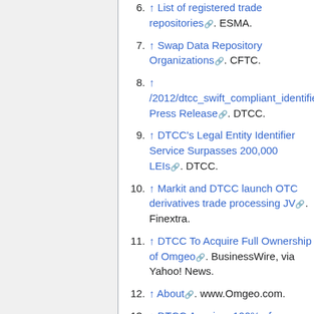6. ↑ List of registered trade repositories. ESMA.
7. ↑ Swap Data Repository Organizations. CFTC.
8. ↑ /2012/dtcc_swift_compliant_identifier Press Release. DTCC.
9. ↑ DTCC's Legal Entity Identifier Service Surpasses 200,000 LEIs. DTCC.
10. ↑ Markit and DTCC launch OTC derivatives trade processing JV. Finextra.
11. ↑ DTCC To Acquire Full Ownership of Omgeo. BusinessWire, via Yahoo! News.
12. ↑ About. www.Omgeo.com.
13. ↑ DTCC Acquires 100% of Omgeo. Omgeo.
14. ↑ DTCC Collaborates With the